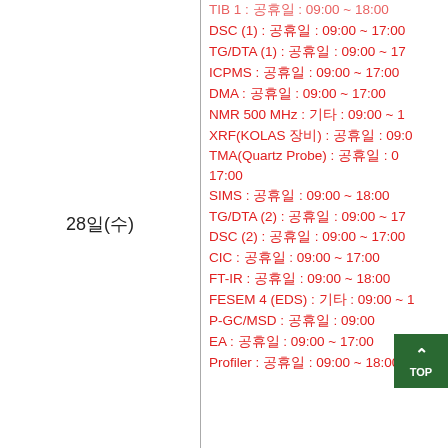TMA(Quartz Probe) : 공휴일 : 09:00 ~ 17:00
DSC (1) : 공휴일 : 09:00 ~ 17:00
TG/DTA (1) : 공휴일 : 09:00 ~ 17
ICPMS : 공휴일 : 09:00 ~ 17:00
DMA : 공휴일 : 09:00 ~ 17:00
NMR 500 MHz : 기타 : 09:00 ~ 1
XRF(KOLAS 장비) : 공휴일 : 09:0
TMA(Quartz Probe) : 공휴일 : 0
17:00
SIMS : 공휴일 : 09:00 ~ 18:00
TG/DTA (2) : 공휴일 : 09:00 ~ 17
DSC (2) : 공휴일 : 09:00 ~ 17:00
CIC : 공휴일 : 09:00 ~ 17:00
FT-IR : 공휴일 : 09:00 ~ 18:00
FESEM 4 (EDS) : 기타 : 09:00 ~ 1
P-GC/MSD : 공휴일 : 09:00
EA : 공휴일 : 09:00 ~ 17:00
Profiler : 공휴일 : 09:00 ~ 18:00
28일(수)